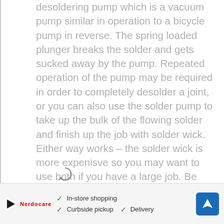desoldering pump which is a vacuum pump similar in operation to a bicycle pump in reverse. The spring loaded plunger breaks the solder and gets sucked away by the pump. Repeated operation of the pump may be required in order to completely desolder a joint, or you can also use the solder pump to take up the bulk of the flowing solder and finish up the job with solder wick. Either way works – the solder wick is more expenisve so you may want to use both if you have a large job. Be careful – the pump should be operated carefully so that no damage the PCB or the electronic components occurs. A solder wick or braid is an alternative to desoldering pumps. Here the copper wick is placed over the joint and the solder is melted by means of soldering iron. The solder gradually flows into the wick and hence gets removed. The wick must be removed from the PCB before it cools down as otherwise it may damage the board.
[Figure (other): Advertisement banner with play button icon, brand logo, checkmarks listing in-store shopping, curbside pickup, delivery, and a blue navigation/directions icon]